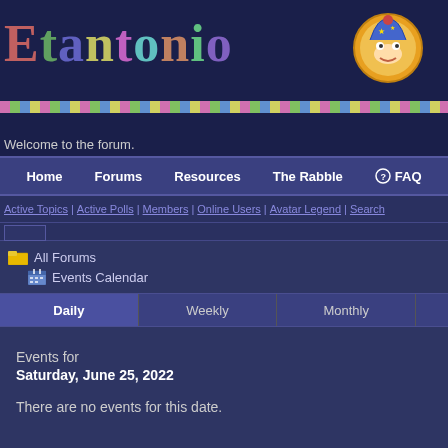Etantonio
Welcome to the forum.
Home | Forums | Resources | The Rabble | FAQ
Active Topics | Active Polls | Members | Online Users | Avatar Legend | Search
All Forums
Events Calendar
Daily | Weekly | Monthly
Events for
Saturday, June 25, 2022
There are no events for this date.